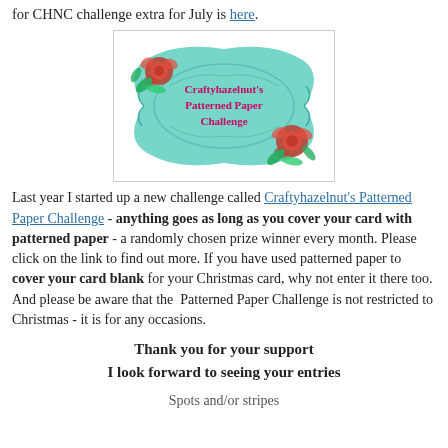for CHNC challenge extra for July is here.
[Figure (illustration): Craftyhazelnut's Patterned Paper Challenge badge — teal decorative frame with red roses and green leaves, red bold text reading 'Craftyhazelnut's Patterned Paper Challenge']
Last year I started up a new challenge called Craftyhazelnut's Patterned Paper Challenge - anything goes as long as you cover your card with patterned paper - a randomly chosen prize winner every month. Please click on the link to find out more. If you have used patterned paper to cover your card blank for your Christmas card, why not enter it there too. And please be aware that the Patterned Paper Challenge is not restricted to Christmas - it is for any occasions.
Thank you for your support
I look forward to seeing your entries
Spots and/or stripes